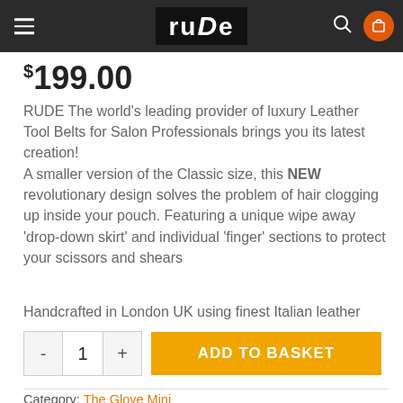rude — navigation header with hamburger menu, logo, search, and cart
$199.00
RUDE The world's leading provider of luxury Leather Tool Belts for Salon Professionals brings you its latest creation!
A smaller version of the Classic size, this NEW revolutionary design solves the problem of hair clogging up inside your pouch. Featuring a unique wipe away 'drop-down skirt' and individual 'finger' sections to protect your scissors and shears
Handcrafted in London UK using finest Italian leather
ADD TO BASKET
Category: The Glove Mini